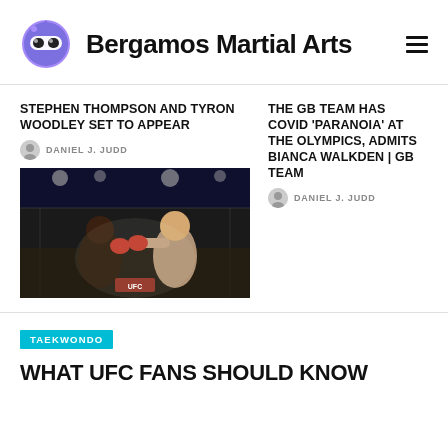Bergamos Martial Arts
STEPHEN THOMPSON AND TYRON WOODLEY SET TO APPEAR
DANIEL J. JUDD
[Figure (photo): UFC fight photo showing two fighters in a boxing/MMA match under arena lights]
THE GB TEAM HAS COVID 'PARANOIA' AT THE OLYMPICS, ADMITS BIANCA WALKDEN | GB TEAM
DANIEL J. JUDD
TAEKWONDO
WHAT UFC FANS SHOULD KNOW